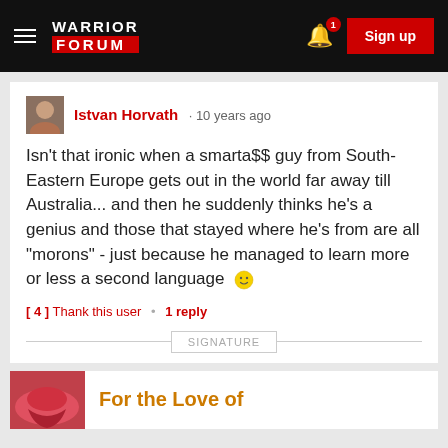Warrior Forum
Istvan Horvath · 10 years ago
Isn't that ironic when a smarta$$ guy from South-Eastern Europe gets out in the world far away till Australia... and then he suddenly thinks he's a genius and those that stayed where he's from are all "morons" - just because he managed to learn more or less a second language 🙂
[ 4 ] Thank this user • 1 reply
SIGNATURE
For the Love of